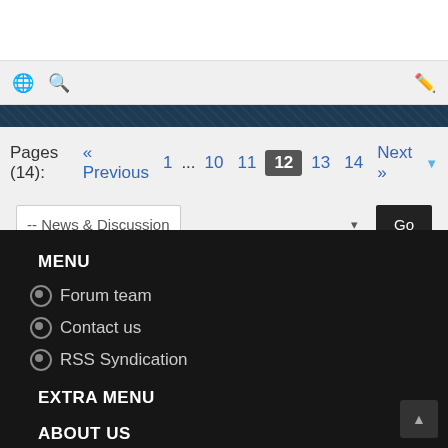Pages (14): « Previous 1 ... 10 11 12 13 14 Next »
-- News & Discussion
MENU
Forum team
Contact us
RSS Syndication
EXTRA MENU
ABOUT US